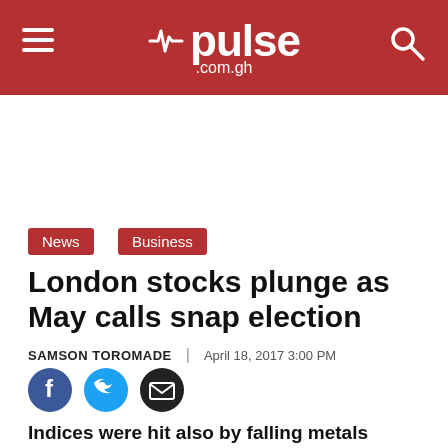pulse.com.gh
News
Business
London stocks plunge as May calls snap election
SAMSON TOROMADE | April 18, 2017 3:00 PM
[Figure (other): Social share icons: Facebook, Twitter, Email]
Indices were hit also by falling metals prices, traders said, as investors returned to their desks after a four-day Easter break.